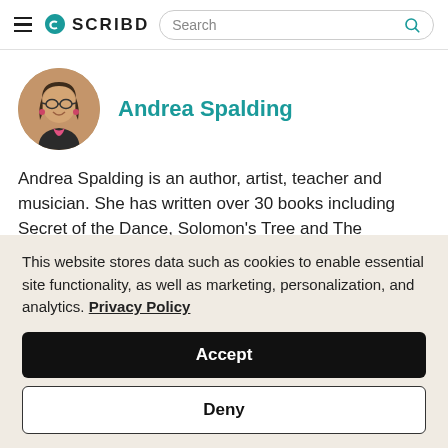SCRIBD — Search
[Figure (photo): Circular profile photo of Andrea Spalding, a woman with glasses and earrings, smiling outdoors]
Andrea Spalding
Andrea Spalding is an author, artist, teacher and musician. She has written over 30 books including Secret of the Dance, Solomon's Tree and The Keeper...
Read more
This website stores data such as cookies to enable essential site functionality, as well as marketing, personalization, and analytics. Privacy Policy
Accept
Deny